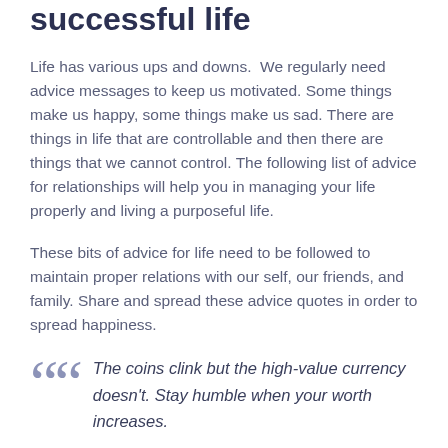successful life
Life has various ups and downs.  We regularly need advice messages to keep us motivated. Some things make us happy, some things make us sad. There are things in life that are controllable and then there are things that we cannot control. The following list of advice for relationships will help you in managing your life properly and living a purposeful life.
These bits of advice for life need to be followed to maintain proper relations with our self, our friends, and family. Share and spread these advice quotes in order to spread happiness.
The coins clink but the high-value currency doesn't. Stay humble when your worth increases.